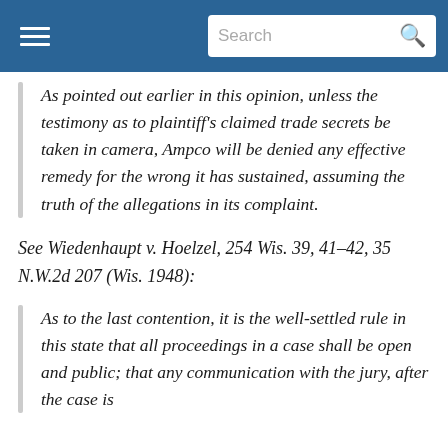Search
As pointed out earlier in this opinion, unless the testimony as to plaintiff's claimed trade secrets be taken in camera, Ampco will be denied any effective remedy for the wrong it has sustained, assuming the truth of the allegations in its complaint.
See Wiedenhaupt v. Hoelzel, 254 Wis. 39, 41–42, 35 N.W.2d 207 (Wis. 1948):
As to the last contention, it is the well-settled rule in this state that all proceedings in a case shall be open and public; that any communication with the jury, after the case is